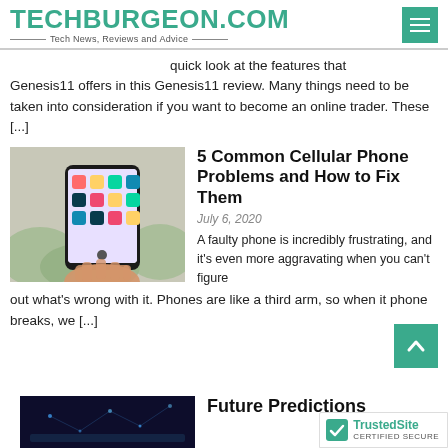TECHBURGEON.COM — Tech News, Reviews and Advice
quick look at the features that Genesis11 offers in this Genesis11 review. Many things need to be taken into consideration if you want to become an online trader. These [...]
[Figure (photo): Hand holding a smartphone displaying app icons on the home screen, outdoors]
5 Common Cellular Phone Problems and How to Fix Them
July 6, 2020
A faulty phone is incredibly frustrating, and it's even more aggravating when you can't figure out what's wrong with it. Phones are like a third arm, so when it phone breaks, we [...]
[Figure (photo): Dark blue digital/tech themed background with circuit or network imagery]
Future Predictions